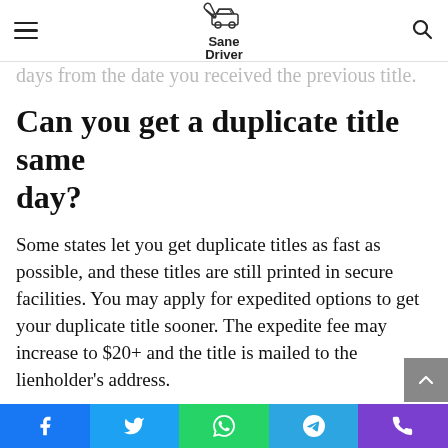Sane Driver
that you may only request a duplicate title to the state that issued the lost title. Also, you can't request a lost title replacement if it's not up to 30 days from the date you received the previous title.
Can you get a duplicate title same day?
Some states let you get duplicate titles as fast as possible, and these titles are still printed in secure facilities. You may apply for expedited options to get your duplicate title sooner. The expedite fee may increase to $20+ and the title is mailed to the lienholder's address.
Can you sell your car with a replaced
Facebook Twitter WhatsApp Telegram Phone